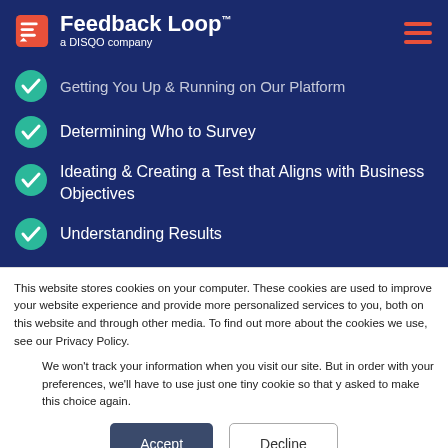Feedback Loop — a DISQO company
Getting You Up & Running on Our Platform
Determining Who to Survey
Ideating & Creating a Test that Aligns with Business Objectives
Understanding Results
This website stores cookies on your computer. These cookies are used to improve your website experience and provide more personalized services to you, both on this website and through other media. To find out more about the cookies we use, see our Privacy Policy.
We won't track your information when you visit our site. But in order with your preferences, we'll have to use just one tiny cookie so that y asked to make this choice again.
Accept | Decline